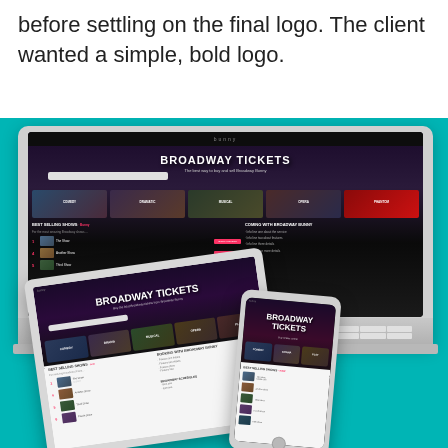before settling on the final logo. The client wanted a simple, bold logo.
[Figure (screenshot): Top-down view of a white laptop displaying a Broadway Tickets website, with a tablet and smartphone also showing the same responsive website, all on a teal background.]